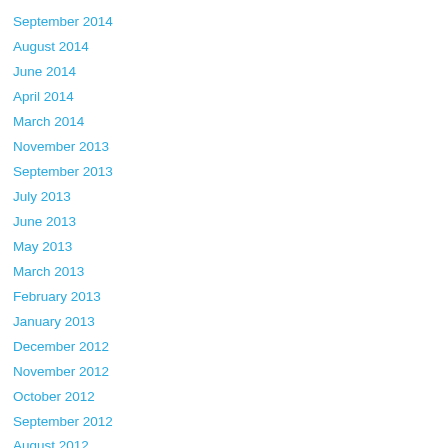September 2014
August 2014
June 2014
April 2014
March 2014
November 2013
September 2013
July 2013
June 2013
May 2013
March 2013
February 2013
January 2013
December 2012
November 2012
October 2012
September 2012
August 2012
June 2012
Categories